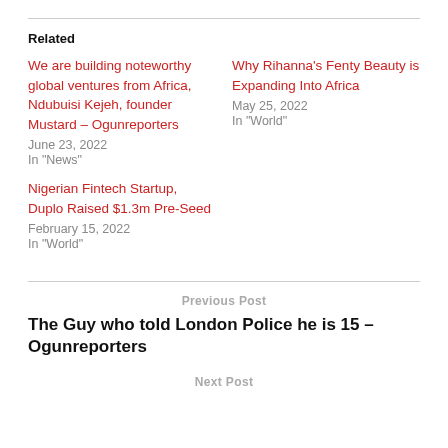Related
We are building noteworthy global ventures from Africa, Ndubuisi Kejeh, founder Mustard – Ogunreporters
June 23, 2022
In "News"
Why Rihanna's Fenty Beauty is Expanding Into Africa
May 25, 2022
In "World"
Nigerian Fintech Startup, Duplo Raised $1.3m Pre-Seed
February 15, 2022
In "World"
Previous Post
The Guy who told London Police he is 15 – Ogunreporters
Next Post